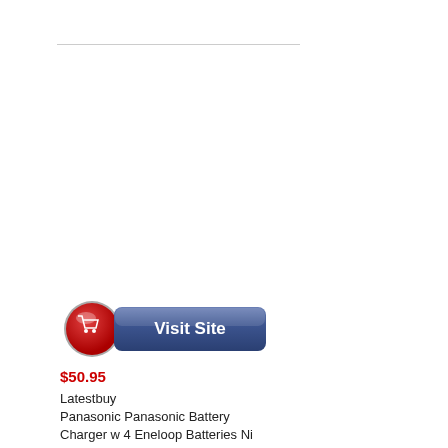[Figure (other): Horizontal divider line near top of page]
[Figure (other): Visit Site button with red shopping cart icon on left and blue gradient button with white bold text 'Visit Site']
$50.95
Latestbuy
Panasonic Panasonic Battery Charger w 4 Eneloop Batteries Ni MH